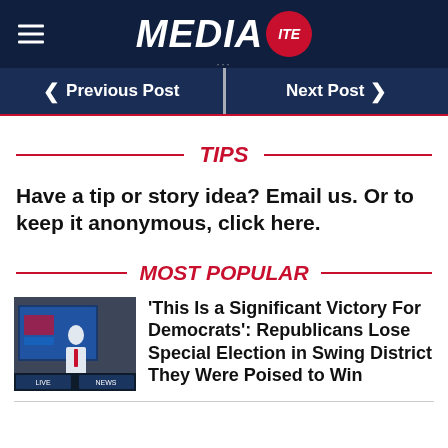MEDIAITE
◀ Previous Post | Next Post ▶
TIPS
Have a tip or story idea? Email us. Or to keep it anonymous, click here.
MOST POPULAR
'This Is a Significant Victory For Democrats': Republicans Lose Special Election in Swing District They Were Poised to Win